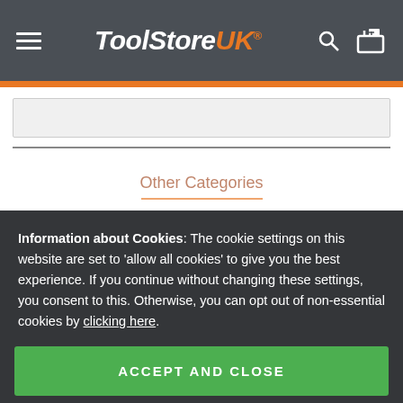ToolStoreUK® — hamburger menu, search icon, cart icon
[Figure (screenshot): Gray search input box placeholder]
Other Categories
Information about Cookies: The cookie settings on this website are set to 'allow all cookies' to give you the best experience. If you continue without changing these settings, you consent to this. Otherwise, you can opt out of non-essential cookies by clicking here.
ACCEPT AND CLOSE